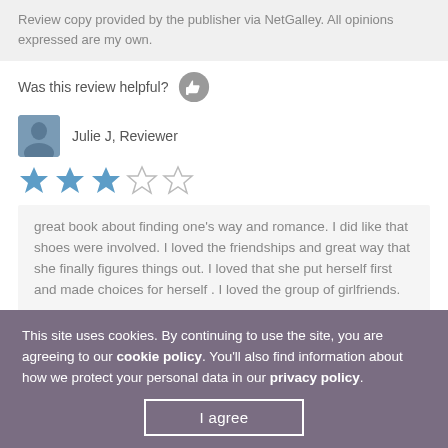Review copy provided by the publisher via NetGalley. All opinions expressed are my own.
Was this review helpful?
Julie J, Reviewer
[Figure (other): 3-star rating out of 5 shown as filled and empty stars]
great book about finding one's way and romance. I did like that shoes were involved. I loved the friendships and great way that she finally figures things out. I loved that she put herself first and made choices for herself . I loved the group of girlfriends.
This site uses cookies. By continuing to use the site, you are agreeing to our cookie policy. You'll also find information about how we protect your personal data in our privacy policy.
I agree